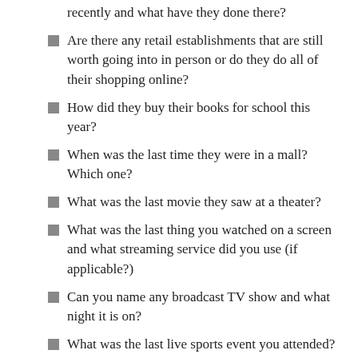recently and what have they done there?
Are there any retail establishments that are still worth going into in person or do they do all of their shopping online?
How did they buy their books for school this year?
When was the last time they were in a mall? Which one?
What was the last movie they saw at a theater?
What was the last thing you watched on a screen and what streaming service did you use (if applicable?)
Can you name any broadcast TV show and what night it is on?
What was the last live sports event you attended?